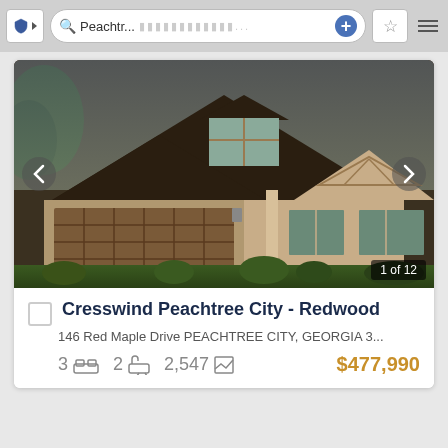[Figure (screenshot): Browser address bar with shield icon, search bar showing 'Peachtr...', placeholder dots, plus button, star button, and menu icon]
[Figure (photo): Exterior rendering of a craftsman-style house with brown roof, double garage, dormer window, and landscaped front yard. Shows navigation arrows and '1 of 12' counter.]
Cresswind Peachtree City - Redwood
146 Red Maple Drive PEACHTREE CITY, GEORGIA 3...
3 [bed icon]  2 [bath icon]  2,547 [sqft icon]  $477,990